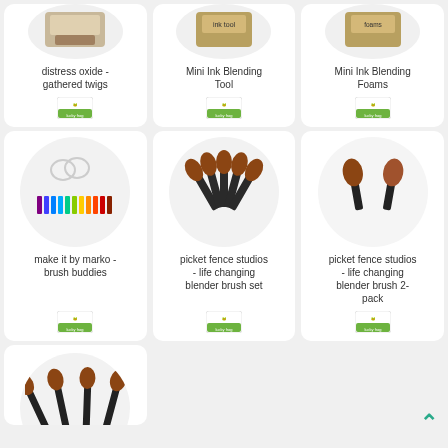[Figure (photo): Product card for distress oxide - gathered twigs, showing product image in circular frame with logo badge]
distress oxide - gathered twigs
[Figure (photo): Product card for Mini Ink Blending Tool, showing product image in circular frame with logo badge]
Mini Ink Blending Tool
[Figure (photo): Product card for Mini Ink Blending Foams, showing product image in circular frame with logo badge]
Mini Ink Blending Foams
[Figure (photo): Product card for make it by marko - brush buddies, showing colorful brush holders in circular frame with logo badge]
make it by marko - brush buddies
[Figure (photo): Product card for picket fence studios - life changing blender brush set, showing fan of oval brushes in circular frame with logo badge]
picket fence studios - life changing blender brush set
[Figure (photo): Product card for picket fence studios - life changing blender brush 2-pack, showing two oval brushes in circular frame with logo badge]
picket fence studios - life changing blender brush 2-pack
[Figure (photo): Partial product card at bottom left, showing four oval brushes in circular frame (card is cropped)]